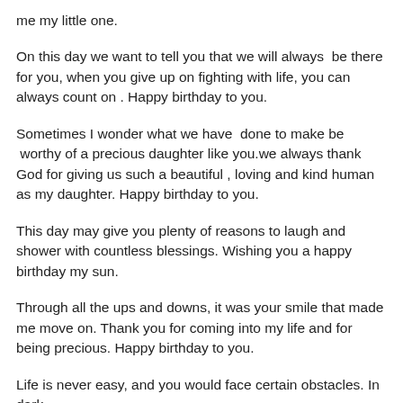me my little one.
On this day we want to tell you that we will always  be there for you, when you give up on fighting with life, you can always count on . Happy birthday to you.
Sometimes I wonder what we have  done to make be  worthy of a precious daughter like you.we always thank God for giving us such a beautiful , loving and kind human as my daughter. Happy birthday to you.
This day may give you plenty of reasons to laugh and shower with countless blessings. Wishing you a happy birthday my sun.
Through all the ups and downs, it was your smile that made me move on. Thank you for coming into my life and for being precious. Happy birthday to you.
Life is never easy, and you would face certain obstacles. In dark…